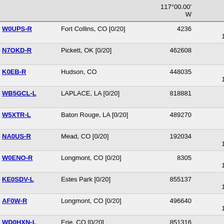| Call | Location | Node | Coordinates | Grid |  |
| --- | --- | --- | --- | --- | --- |
| W0UPS-R | Fort Collins, CO [0/20] | 4236 | 40°32.95' N 105°11.82' W | DN70jn | 4 |
| N7OKD-R | Pickett, OK [0/20] | 462608 | 34°46.72' N 96°46.47' W | EM14os | 4 |
| K0EB-R | Hudson, CO | 448035 | 40°01.21' N 104°38.52' W | DN70qa | 4 |
| WB5GCL-L | LAPLACE, LA [0/20] | 818881 | 30°04.30' N 90°30.38' W | EM40rb | 4 |
| W5XTR-L | Baton Rouge, LA [0/20] | 489270 | 30°25.01' N 91°03.12' W | EM40lk | 4 |
| NA0US-R | Mead, CO [0/20] | 192034 | 40°09.90' N 105°06.06' W | DN70kd | 4 |
| W0ENO-R | Longmont, CO [0/20] | 8305 | 40°09.78' N 105°06.06' W | DN70kd | 4 |
| KE0SDV-L | Estes Park [0/20] | 855137 | 40°24.00' N 105°30.00' W | DN70gj | 8 |
| AF0W-R | Longmont, CO [0/20] | 496640 | 40°07.93' N 105°06.78' W | DN70kd | 4 |
| WD0HXN-L | Erie, CO [0/20] | 851316 | 40°00.47' N | DN70la | 4 |